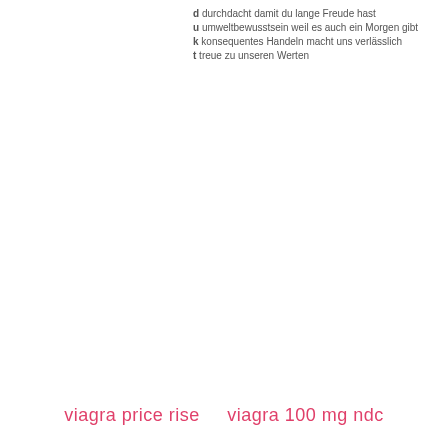d durchdacht damit du lange Freude hast
u umweltbewusstsein weil es auch ein Morgen gibt
k konsequentes Handeln macht uns verlässlich
t treue zu unseren Werten
viagra price rise    viagra 100 mg ndc